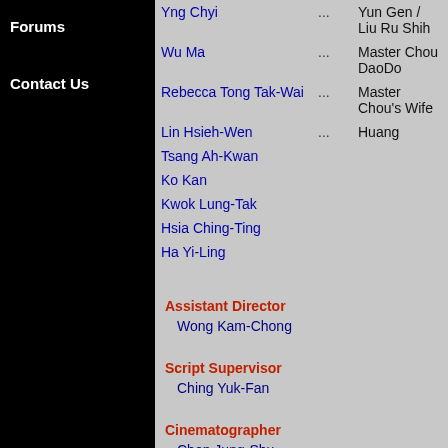Forums
Contact Us
Yng Chyi ... Yun Gen / Liu Ru Shih
Wu Ma ... Master Chou DaoDo
Rebecca Tong Tak-Wai ... Master Chou's Wife
Lin Hsieh-Wen ... Huang
Tsang Ah-Kwan
Ko Kan
Kwok Lung-Tak
Hsia Ching-Ting
Ha Yi-Ling
Assistant Director
Wong Kam-Chong
Script Supervisor
Ching Yuk-Fan
Cinematographer
Chen Jung-Shu